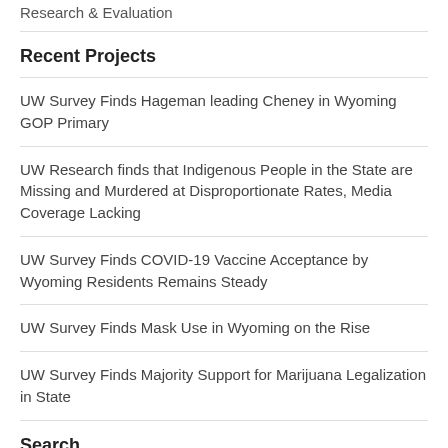Research & Evaluation
Recent Projects
UW Survey Finds Hageman leading Cheney in Wyoming GOP Primary
UW Research finds that Indigenous People in the State are Missing and Murdered at Disproportionate Rates, Media Coverage Lacking
UW Survey Finds COVID-19 Vaccine Acceptance by Wyoming Residents Remains Steady
UW Survey Finds Mask Use in Wyoming on the Rise
UW Survey Finds Majority Support for Marijuana Legalization in State
Search